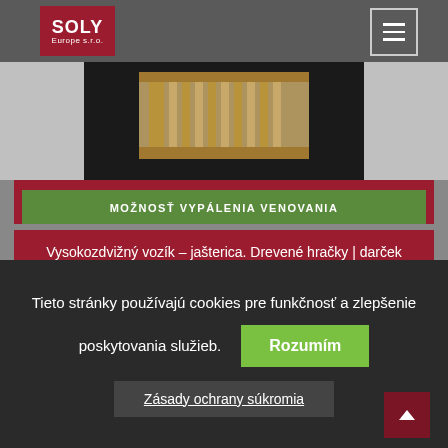SOLY Europe s.r.o.
[Figure (photo): Wooden toy forklift/lizard on dark background, top portion of product photo]
MOŽNOSŤ VYPÁLENIA VENOVANIA
Vysokozdvižný vozík – jašterica. Drevené hračky | darček
20,99 €
Vyberte možnosti
Tieto stránky používajú cookies pre funkčnosť a zlepšenie poskytovania služieb.
Rozumím
Zásady ochrany súkromia